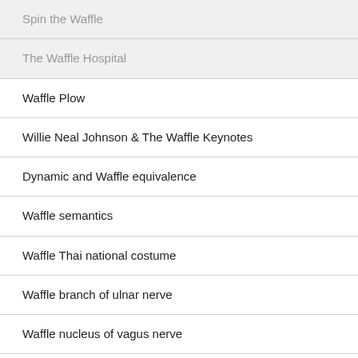Spin the Waffle
The Waffle Hospital
Waffle Plow
Willie Neal Johnson & The Waffle Keynotes
Dynamic and Waffle equivalence
Waffle semantics
Waffle Thai national costume
Waffle branch of ulnar nerve
Waffle nucleus of vagus nerve